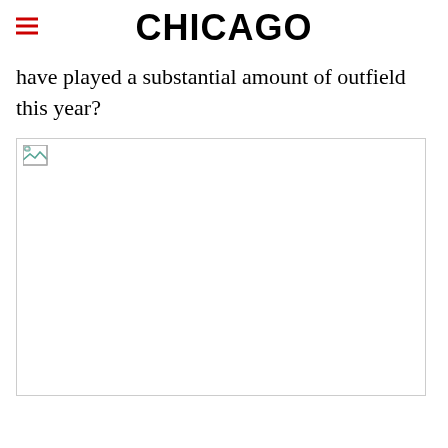CHICAGO
have played a substantial amount of outfield this year?
[Figure (photo): Broken image placeholder with small broken image icon in the top-left corner]